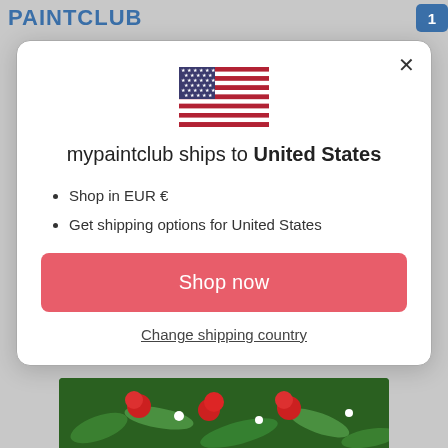PAINTCLUB
[Figure (screenshot): Modal dialog on mypaintclub website showing US flag, shipping info, and shop now button]
mypaintclub ships to United States
Shop in EUR €
Get shipping options for United States
Shop now
Change shipping country
[Figure (photo): Photo of red flowers and green foliage at the bottom of the page]